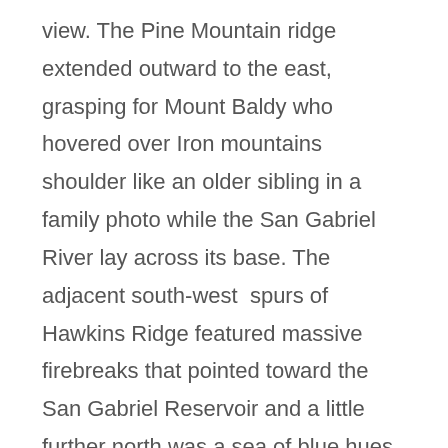view. The Pine Mountain ridge extended outward to the east, grasping for Mount Baldy who hovered over Iron mountains shoulder like an older sibling in a family photo while the San Gabriel River lay across its base. The adjacent south-west spurs of Hawkins Ridge featured massive firebreaks that pointed toward the San Gabriel Reservoir and a little further north was a sea of blue hues made up of hundreds of peaks and canyons I couldn't name. We had entered true Angeles Forest high country.

At 1:20 pm (8.5 miles, roughly 7,400 feet climbed), Jose and I had made it to the